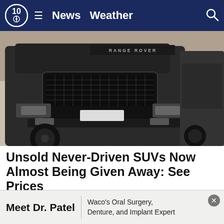10 News Weather
[Figure (photo): Close-up of a black Range Rover SUV from the front, parked next to another dark SUV, with desert/gravel ground visible]
Unsold Never-Driven SUVs Now Almost Being Given Away: See Prices
SUVs | Search Ads | Sponsored
[Figure (photo): Street scene with cars and buildings, with US dollar bills fanned out in the foreground]
Meet Dr. Patel | Waco's Oral Surgery, Denture, and Implant Expert